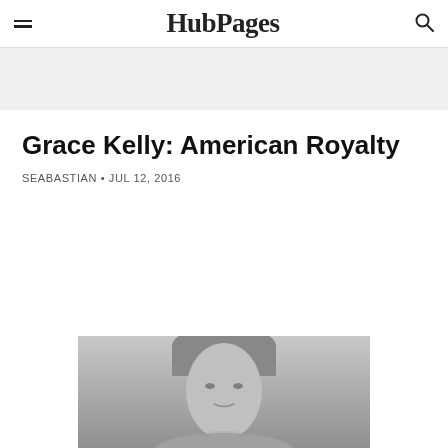HubPages
[Figure (other): Gray advertisement banner placeholder]
Grace Kelly: American Royalty
SEABASTIAN • JUL 12, 2016
[Figure (photo): Black and white photo of Grace Kelly, cropped at bottom of page showing her face and shoulders]